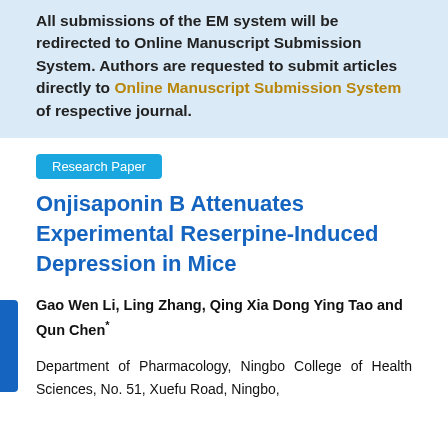All submissions of the EM system will be redirected to Online Manuscript Submission System. Authors are requested to submit articles directly to Online Manuscript Submission System of respective journal.
Research Paper
Onjisaponin B Attenuates Experimental Reserpine-Induced Depression in Mice
Gao Wen Li, Ling Zhang, Qing Xia Dong Ying Tao and Qun Chen*
Department of Pharmacology, Ningbo College of Health Sciences, No. 51, Xuefu Road, Ningbo,